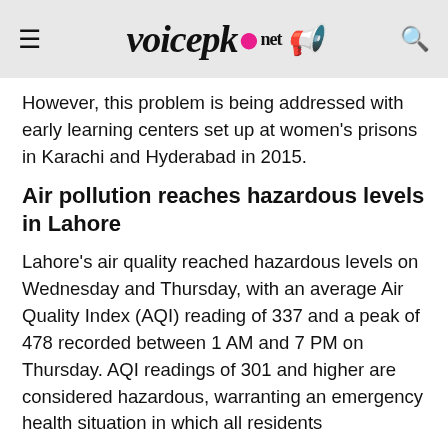voicepk.net
However, this problem is being addressed with early learning centers set up at women's prisons in Karachi and Hyderabad in 2015.
Air pollution reaches hazardous levels in Lahore
Lahore's air quality reached hazardous levels on Wednesday and Thursday, with an average Air Quality Index (AQI) reading of 337 and a peak of 478 recorded between 1 AM and 7 PM on Thursday. AQI readings of 301 and higher are considered hazardous, warranting an emergency health situation in which all residents